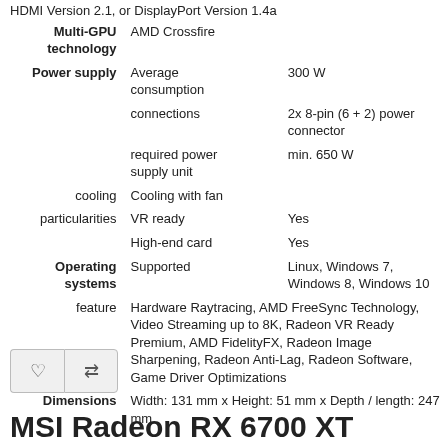| connections | HDMI Version 2.1, or DisplayPort Version 1.4a |  |
| Multi-GPU technology | AMD Crossfire |  |
| Power supply | Average consumption | 300 W |
|  | connections | 2x 8-pin (6 + 2) power connector |
|  | required power supply unit | min. 650 W |
| cooling | Cooling with fan |  |
| particularities | VR ready | Yes |
|  | High-end card | Yes |
| Operating systems | Supported | Linux, Windows 7, Windows 8, Windows 10 |
| feature | Hardware Raytracing, AMD FreeSync Technology, Video Streaming up to 8K, Radeon VR Ready Premium, AMD FidelityFX, Radeon Image Sharpening, Radeon Anti-Lag, Radeon Software, Game Driver Optimizations |  |
| Dimensions | Width: 131 mm x Height: 51 mm x Depth / length: 247 mm |  |
MSI Radeon RX 6700 XT